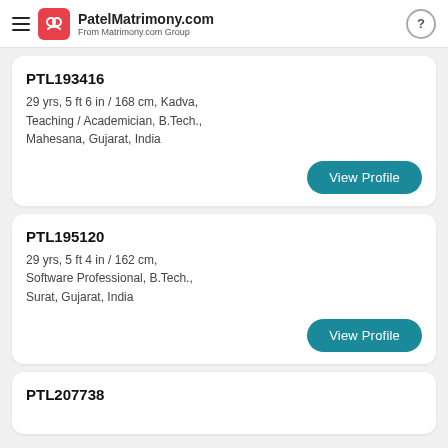PatelMatrimony.com From Matrimony.com Group
PTL193416
29 yrs, 5 ft 6 in / 168 cm, Kadva, Teaching / Academician, B.Tech., Mahesana, Gujarat, India
View Profile
PTL195120
29 yrs, 5 ft 4 in / 162 cm, Software Professional, B.Tech., Surat, Gujarat, India
View Profile
PTL207738